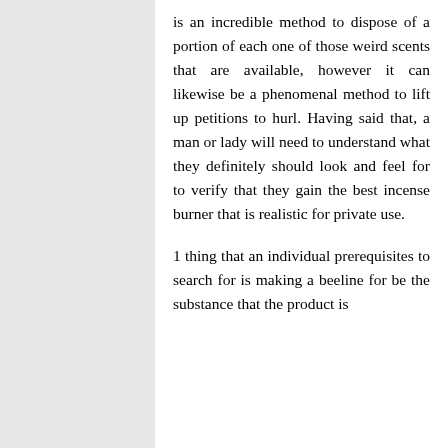is an incredible method to dispose of a portion of each one of those weird scents that are available, however it can likewise be a phenomenal method to lift up petitions to hurl. Having said that, a man or lady will need to understand what they definitely should look and feel for to verify that they gain the best incense burner that is realistic for private use.
1 thing that an individual prerequisites to search for is making a beeline for be the substance that the product is